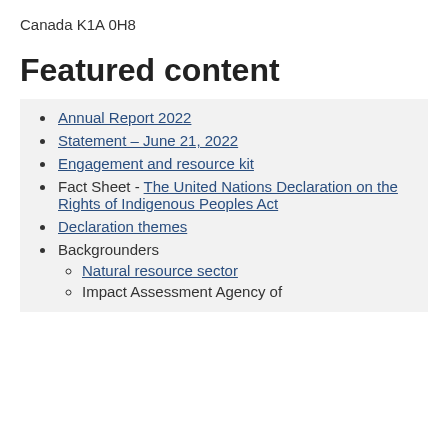Canada K1A 0H8
Featured content
Annual Report 2022
Statement – June 21, 2022
Engagement and resource kit
Fact Sheet - The United Nations Declaration on the Rights of Indigenous Peoples Act
Declaration themes
Backgrounders
Natural resource sector
Impact Assessment Agency of